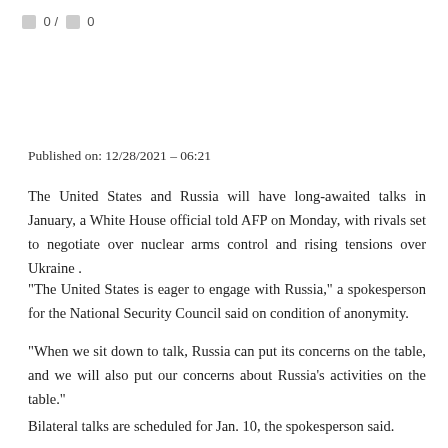0 / 0
Published on: 12/28/2021 – 06:21
The United States and Russia will have long-awaited talks in January, a White House official told AFP on Monday, with rivals set to negotiate over nuclear arms control and rising tensions over Ukraine .
“The United States is eager to engage with Russia,” a spokesperson for the National Security Council said on condition of anonymity.
“When we sit down to talk, Russia can put its concerns on the table, and we will also put our concerns about Russia’s activities on the table.”
Bilateral talks are scheduled for Jan. 10, the spokesperson said.